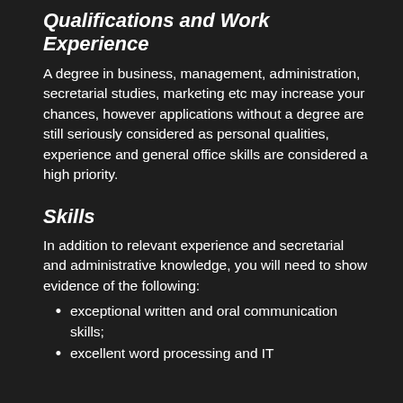Qualifications and Work Experience
A degree in business, management, administration, secretarial studies, marketing etc may increase your chances, however applications without a degree are still seriously considered as personal qualities, experience and general office skills are considered a high priority.
Skills
In addition to relevant experience and secretarial and administrative knowledge, you will need to show evidence of the following:
exceptional written and oral communication skills;
excellent word processing and IT